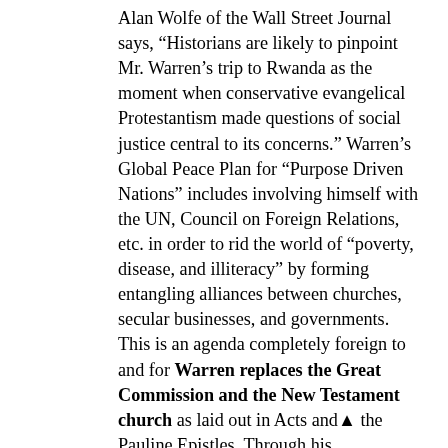Alan Wolfe of the Wall Street Journal says, “Historians are likely to pinpoint Mr. Warren’s trip to Rwanda as the moment when conservative evangelical Protestantism made questions of social justice central to its concerns.” Warren’s Global Peace Plan for “Purpose Driven Nations” includes involving himself with the UN, Council on Foreign Relations, etc. in order to rid the world of “poverty, disease, and illiteracy” by forming entangling alliances between churches, secular businesses, and governments. This is an agenda completely foreign to and for Warren replaces the Great Commission and the New Testament church as laid out in Acts and the Pauline Epistles. Through his cooperative efforts, Warren aligns himself with the same UN that seeks to “rid the world” of